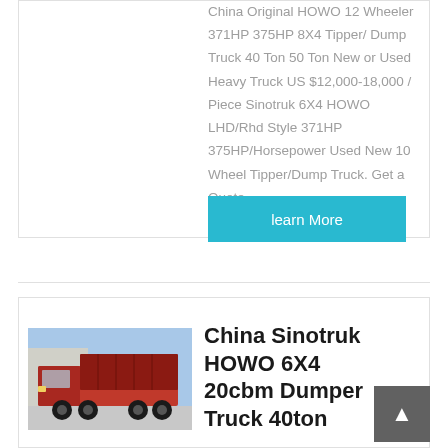China Original HOWO 12 Wheeler 371HP 375HP 8X4 Tipper/ Dump Truck 40 Ton 50 Ton New or Used Heavy Truck US $12,000-18,000 / Piece Sinotruk 6X4 HOWO LHD/Rhd Style 371HP 375HP/Horsepower Used New 10 Wheel Tipper/Dump Truck. Get a Quote
learn More
[Figure (photo): Red Sinotruk HOWO 6X4 dump truck parked in front of a building, side view showing the red cab and dump bed with wheels visible]
China Sinotruk HOWO 6X4 20cbm Dumper Truck 40ton